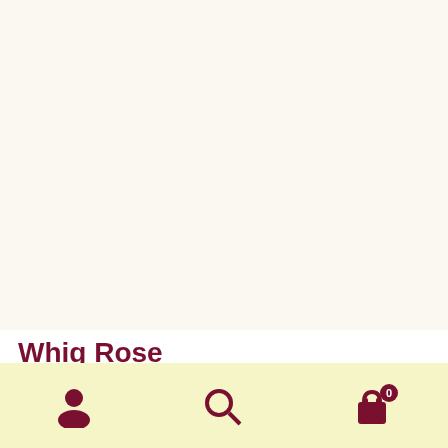[Figure (photo): Photograph of a patchwork quilt named Whig Rose, showing a decorative quilt with diamond shapes, small colored squares, maroon/burgundy borders, and a tan/gold floral outer border.]
Whig Rose
A Quilt by Karel's Kreations
$300.00
Size: Small Quilts
38 inches wide by 38 inches long
kkq10016 | Applique Patchwork Combo, Small Quilts